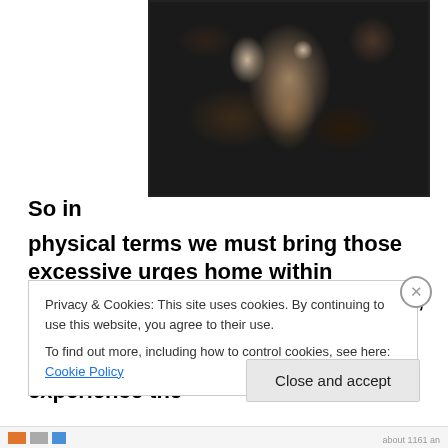[Figure (illustration): Dark abstract painting depicting a shadowy figure or creature with muted earth tones — browns, blacks, and whites — on a dark background.]
So in physical terms we must bring those excessive urges home within ourselves and ground them in Nature, bring them back into our physical bodies, we must be Centaurs. And within our bodies experience the
Privacy & Cookies: This site uses cookies. By continuing to use this website, you agree to their use.
To find out more, including how to control cookies, see here: Cookie Policy
Close and accept